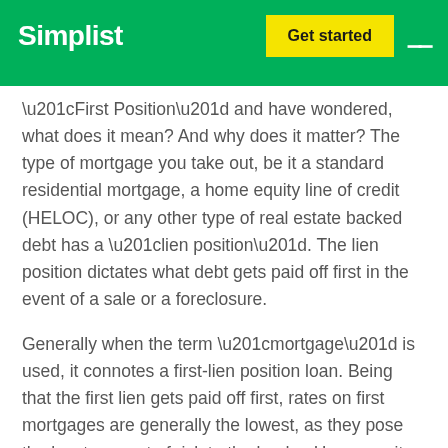Simplist | Get started
“First Position” and have wondered, what does it mean? And why does it matter? The type of mortgage you take out, be it a standard residential mortgage, a home equity line of credit (HELOC), or any other type of real estate backed debt has a “lien position”. The lien position dictates what debt gets paid off first in the event of a sale or a foreclosure.
Generally when the term “mortgage” is used, it connotes a first-lien position loan. Being that the first lien gets paid off first, rates on first mortgages are generally the lowest, as they pose the least amount of risk to the lender. Home equity loans are typically second position loans. Even if there is no first mortgage on the home, a home equity loan by itself is often referred to as a “stand-alone second”. Any debt secured against your home has a lien